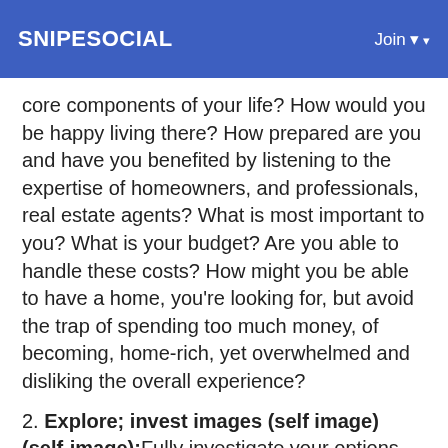SNIPESOCIAL  Join
core components of your life? How would you be happy living there? How prepared are you and have you benefited by listening to the expertise of homeowners, and professionals, real estate agents? What is most important to you? What is your budget? Are you able to handle these costs? How might you be able to have a home, you're looking for, but avoid the trap of spending too much money, of becoming, home-rich, yet overwhelmed and disliking the overall experience?
2. Explore; invest images (self image) (self-image): Fully investigate your options and options, rather than jumping to the conclusion! Is this an excellent investment for you, not only as